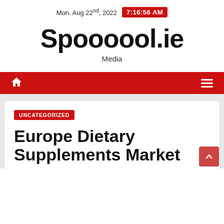Mon. Aug 22nd, 2022  7:16:56 AM
Spoooool.ie
Media
[Figure (other): Navigation bar with home icon and hamburger menu on red background]
UNCATEGORIZED
Europe Dietary Supplements Market